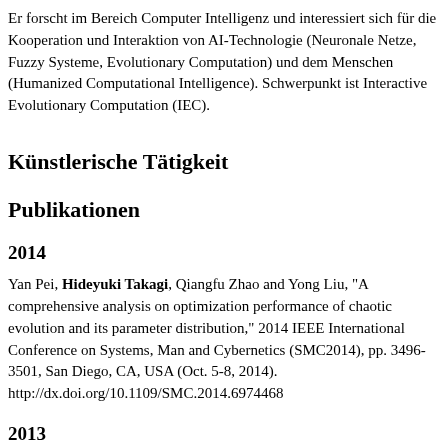Er forscht im Bereich Computer Intelligenz und interessiert sich für die Kooperation und Interaktion von AI-Technologie (Neuronale Netze, Fuzzy Systeme, Evolutionary Computation) und dem Menschen (Humanized Computational Intelligence). Schwerpunkt ist Interactive Evolutionary Computation (IEC).
Künstlerische Tätigkeit
Publikationen
2014
Yan Pei, Hideyuki Takagi, Qiangfu Zhao and Yong Liu, "A comprehensive analysis on optimization performance of chaotic evolution and its parameter distribution," 2014 IEEE International Conference on Systems, Man and Cybernetics (SMC2014), pp. 3496-3501, San Diego, CA, USA (Oct. 5-8, 2014). http://dx.doi.org/10.1109/SMC.2014.6974468
2013